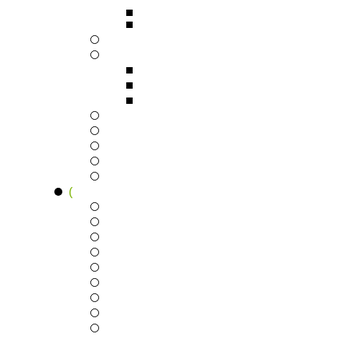■
■
○
○
■
■
■
○
○
○
○
○
● (
○
○
○
○
○
○
○
○
○